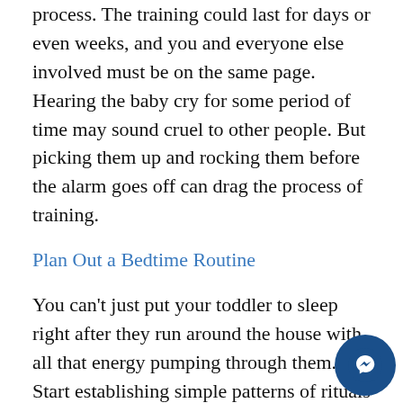process. The training could last for days or even weeks, and you and everyone else involved must be on the same page. Hearing the baby cry for some period of time may sound cruel to other people. But picking them up and rocking them before the alarm goes off can drag the process of training.
Plan Out a Bedtime Routine
You can't just put your toddler to sleep right after they run around the house with all that energy pumping through them. Start establishing simple patterns of rituals before they go for a nap or bed. Have a quiet time to help them fall asleep faster. Read a book or let them play with blocks. This p of calm time will help your child's mind and bod slow down and relax.